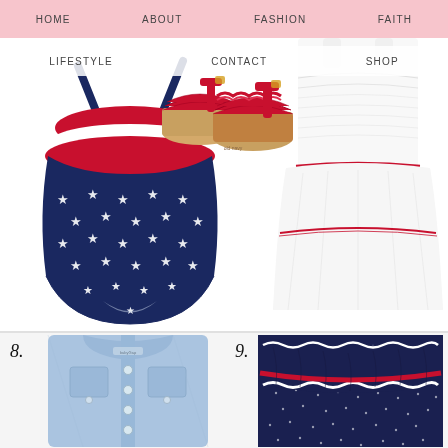HOME   ABOUT   FASHION   FAITH
LIFESTYLE   CONTACT   SHOP
[Figure (photo): Navy star-print one-piece swimsuit with red and white ruffle details at top, children's fashion item]
[Figure (photo): Red ruffle sandals with tan sole and ankle strap, children's shoes]
[Figure (photo): White tiered dress with red trim/piping at waist, children's fashion]
8.
[Figure (photo): Light blue chambray sleeveless dress/romper with button front and chest pockets, children's fashion]
9.
[Figure (photo): Navy blue dotted top with ruffled off-shoulder collar trimmed in red and white ric-rac, children's fashion]